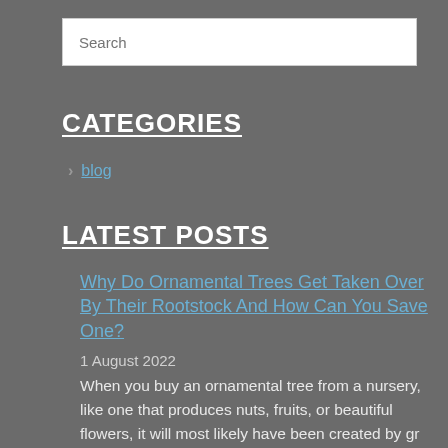Search
CATEGORIES
blog
LATEST POSTS
Why Do Ornamental Trees Get Taken Over By Their Rootstock And How Can You Save One?
1 August 2022
When you buy an ornamental tree from a nursery, like one that produces nuts, fruits, or beautiful flowers, it will most likely have been created by gr ...